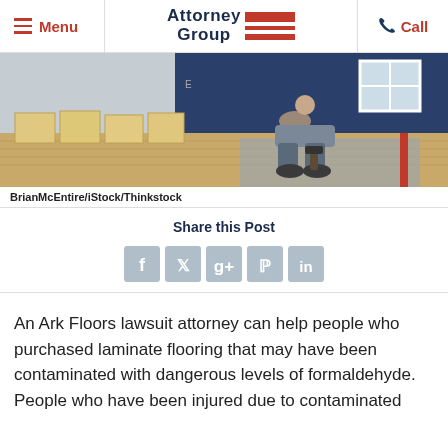Menu | Attorney Group | Call
[Figure (photo): Worker installing laminate flooring in a room, kneeling on wood floor with flooring boxes nearby, blue wall in background]
BrianMcEntire/iStock/Thinkstock
Share this Post
[Figure (infographic): Social sharing icons: Facebook, Twitter, Google+, Pinterest, LinkedIn]
An Ark Floors lawsuit attorney can help people who purchased laminate flooring that may have been contaminated with dangerous levels of formaldehyde. People who have been injured due to contaminated